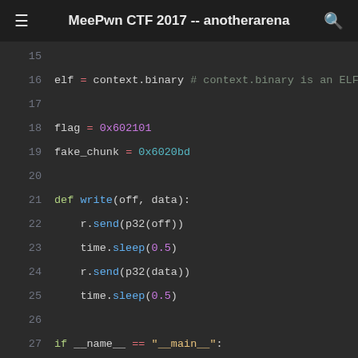MeePwn CTF 2017 -- anotherarena
[Figure (screenshot): Python source code snippet showing lines 15-32 of a CTF exploit script with syntax highlighting on a dark background.]